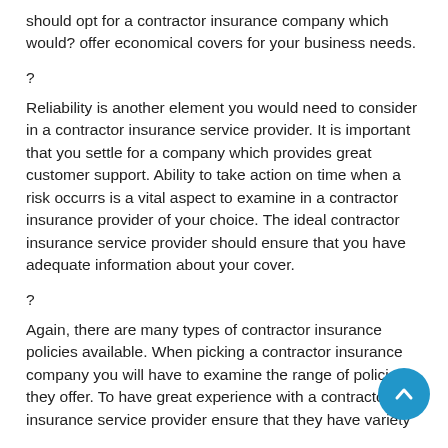should opt for a contractor insurance company which would? offer economical covers for your business needs.
?
Reliability is another element you would need to consider in a contractor insurance service provider. It is important that you settle for a company which provides great customer support. Ability to take action on time when a risk occurrs is a vital aspect to examine in a contractor insurance provider of your choice. The ideal contractor insurance service provider should ensure that you have adequate information about your cover.
?
Again, there are many types of contractor insurance policies available. When picking a contractor insurance company you will have to examine the range of policies they offer. To have great experience with a contractor insurance service provider ensure that they have variety of policies for your business needs. Getting all the